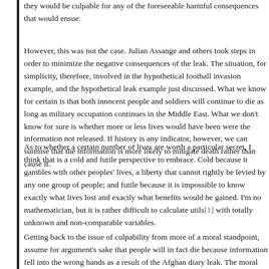they would be culpable for any of the foreseeable harmful consequences that would ensue.
However, this was not the case. Julian Assange and others took steps in order to minimize the negative consequences of the leak. The situation, for simplicity, therefore, involved in the hypothetical football invasion example, and the hypothetical leak example just discussed. What we know for certain is that both innocent people and soldiers will continue to die as long as military occupation continues in the Middle East. What we don't know for sure is whether more or less lives would have been were the information not released. If history is any indicator, however, we can surmise that the information is more likely to mitigate death rather than cause it.
As to whether a certain number of lives are worth a particular secret, I think that is a cold and futile perspective to embrace. Cold because it gambles with other peoples' lives, a liberty that cannot rightly be levied by any one group of people; and futile because it is impossible to know exactly what lives lost and exactly what benefits would be gained. I'm no mathematician, but it is rather difficult to calculate utils[1] with totally unknown and non-comparable variables.
Getting back to the issue of culpability from more of a moral standpoint, assume for argument's sake that people will in fact die because information fell into the wrong hands as a result of the Afghan diary leak. The moral onus would still be on the actual perpetrators of the war